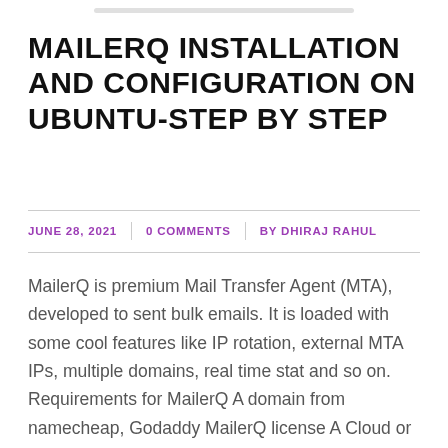MAILERQ INSTALLATION AND CONFIGURATION ON UBUNTU-STEP BY STEP
JUNE 28, 2021 | 0 COMMENTS | BY DHIRAJ RAHUL
MailerQ is premium Mail Transfer Agent (MTA), developed to sent bulk emails. It is loaded with some cool features like IP rotation, external MTA IPs, multiple domains, real time stat and so on. Requirements for MailerQ A domain from namecheap, Godaddy MailerQ license A Cloud or VPS with Ubuntu 20.04 ( minimum 4 GB RAM [...]